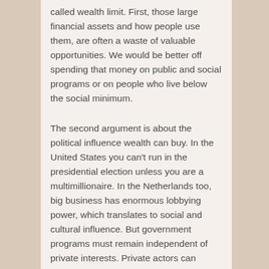called wealth limit. First, those large financial assets and how people use them, are often a waste of valuable opportunities. We would be better off spending that money on public and social programs or on people who live below the social minimum.
The second argument is about the political influence wealth can buy. In the United States you can't run in the presidential election unless you are a multimillionaire. In the Netherlands too, big business has enormous lobbying power, which translates to social and cultural influence. But government programs must remain independent of private interests. Private actors can implement radical changes just like that, free of democratic oversight. In which case there is no guarantee whatsoever